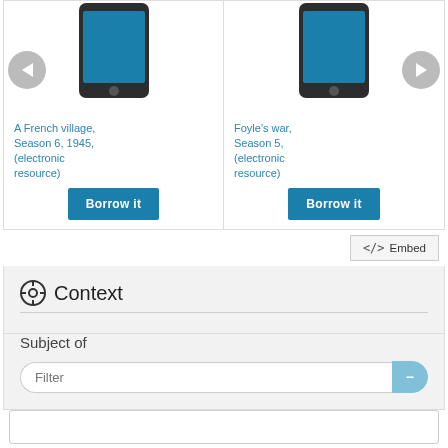[Figure (illustration): Carousel of electronic resource items showing phone/tablet device images with titles and Borrow it buttons. Left navigation arrow and right navigation arrow visible. Two cards shown: 'A French village, Season 6, 1945, (electronic resource)' and 'Foyle's war, Season 5, (electronic resource)']
A French village, Season 6, 1945, (electronic resource)
Foyle's war, Season 5, (electronic resource)
Borrow it
Borrow it
</> Embed
Context
Subject of
Filter